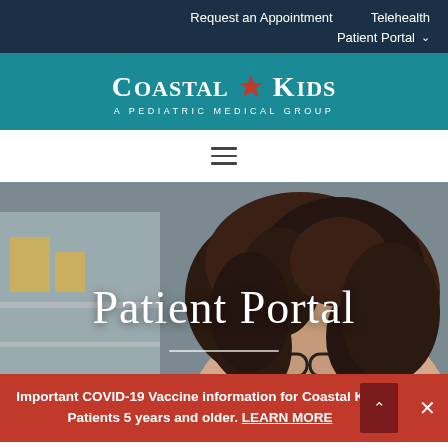Request an Appointment   Telehealth   Patient Portal
[Figure (logo): Coastal Kids - A Pediatric Medical Group logo with starfish icon]
[Figure (photo): Woman with curly dark hair looking down, indoor background]
Patient Portal
Important COVID-19 Vaccine information for Coastal Kids Patients 5 years and older. LEARN MORE